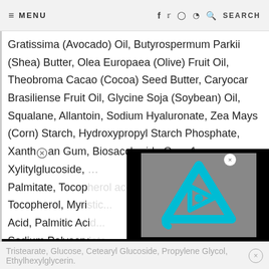≡ MENU   f  twitter  instagram  pinterest  🔍 SEARCH
Gratissima (Avocado) Oil, Butyrospermum Parkii (Shea) Butter, Olea Europaea (Olive) Fruit Oil, Theobroma Cacao (Cocoa) Seed Butter, Caryocar Brasiliense Fruit Oil, Glycine Soja (Soybean) Oil, Squalane, Allantoin, Sodium Hyaluronate, Zea Mays (Corn) Starch, Hydroxypropyl Starch Phosphate, Xanthan Gum, Biosaccharide Gum-1, Xylitylglucoside, Palmitate, Tocopherol, Tocopherol, Myristic Acid, Palmitic Acid, Sodium Polyacrylate
[Figure (screenshot): Video player overlay showing a cyan/teal triangular play button logo on a gray background with black borders on sides]
Tristearate, Glucose, Cetearyl Glucoside, Propylene Glycol, Ethylhexylglycerin.